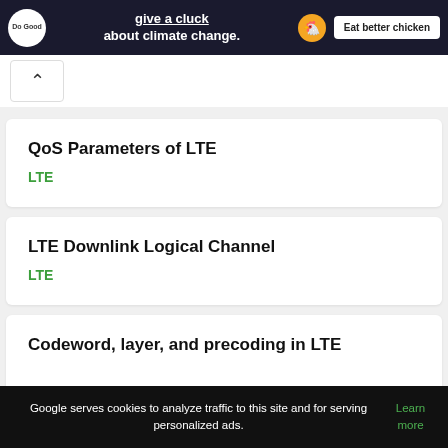[Figure (screenshot): Advertisement banner with 'Do Good' logo, bold text 'give a cluck about climate change.' with a chicken icon, and a white button 'Eat better chicken' on dark navy background]
^ (navigation up button)
QoS Parameters of LTE
LTE
LTE Downlink Logical Channel
LTE
Codeword, layer, and precoding in LTE
Google serves cookies to analyze traffic to this site and for serving personalized ads. Learn more